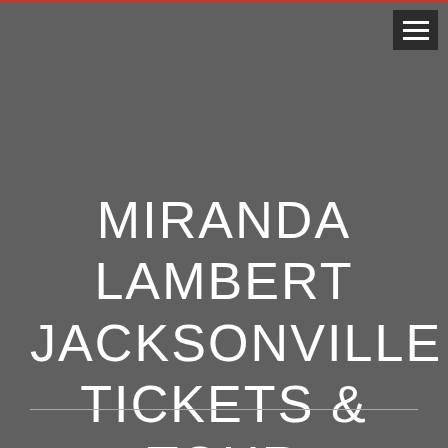[Figure (other): Hamburger menu icon button in top right corner]
MIRANDA LAMBERT JACKSONVILLE TICKETS & TOUR DATES